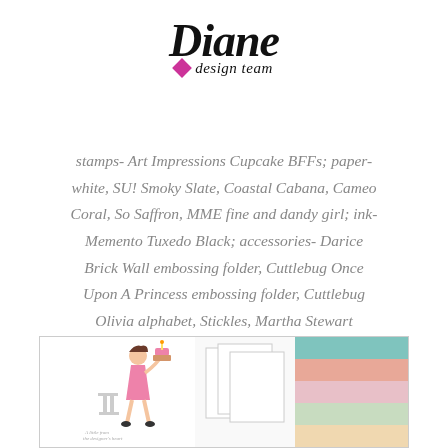[Figure (logo): Diane design team logo with stylized italic text and pink diamond shape]
stamps- Art Impressions Cupcake BFFs; paper- white, SU! Smoky Slate, Coastal Cabana, Cameo Coral, So Saffron, MME fine and dandy girl; ink- Memento Tuxedo Black; accessories- Darice Brick Wall embossing folder, Cuttlebug Once Upon A Princess embossing folder, Cuttlebug Olivia alphabet, Stickles, Martha Stewart cupcake punch, LaLaLand Heart Banner.
[Figure (photo): Product photo strip showing stamped card with girl and cupcake, white card stock sheets, and color swatches including teal, salmon, pink, and light green]